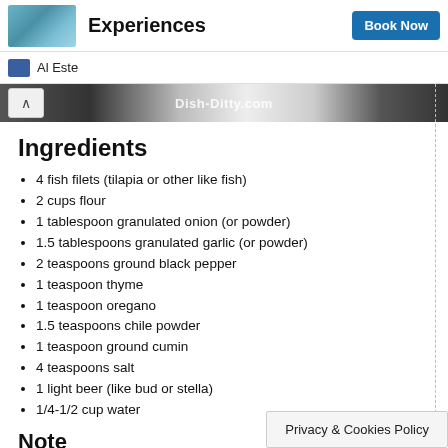Experiences  Book Now
Al Este
[Figure (photo): Banner image strip with Dish-Ditty.com watermark]
Ingredients
4 fish filets (tilapia or other like fish)
2 cups flour
1 tablespoon granulated onion (or powder)
1.5 tablespoons granulated garlic (or powder)
2 teaspoons ground black pepper
1 teaspoon thyme
1 teaspoon oregano
1.5 teaspoons chile powder
1 teaspoon ground cumin
4 teaspoons salt
1 light beer (like bud or stella)
1/4-1/2 cup water
Note
Video making Fried Fish for
Privacy & Cookies Policy